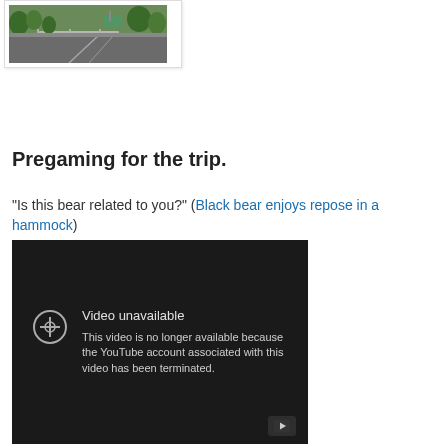[Figure (photo): A photo thumbnail showing a road with guardrails and trees/vegetation in the background, inside a white bordered frame.]
Pregaming for the trip.
"Is this bear related to you?" (Black bear enjoys repose in a hammock)
[Figure (screenshot): A YouTube embedded video player showing a 'Video unavailable' error message. The message reads: 'Video unavailable. This video is no longer available because the YouTube account associated with this video has been terminated.' There is a YouTube play button icon in the bottom right corner.]